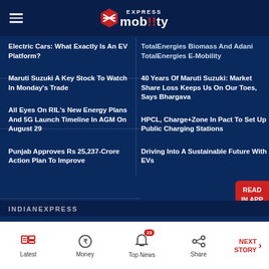Express mobility
Electric Cars: What Exactly Is An EV Platform?
TotalEnergies Biomass And Adani TotalEnergies E-Mobility
Maruti Suzuki A Key Stock To Watch In Monday's Trade
40 Years Of Maruti Suzuki: Market Share Loss Keeps Us On Our Toes, Says Bhargava
All Eyes On RIL's New Energy Plans And 5G Launch Timeline In AGM On August 29
HPCL, Charge+Zone In Pact To Set Up Public Charging Stations
Punjab Approves Rs 25,237-Crore Action Plan To Improve
Driving Into A Sustainable Future With EVs
INDIANEXPRESS | Latest | Money | Top News 23 | Share | NEXT STORY